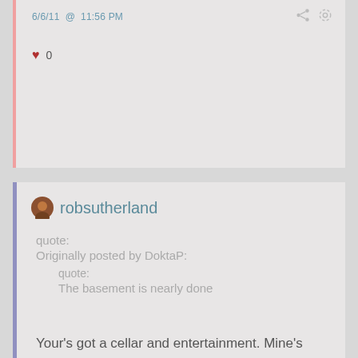6/6/11 @ 11:56 PM
♥ 0
robsutherland
quote:
Originally posted by DoktaP:

quote:
The basement is nearly done
Hallelujah brother, Hallelujah!
Your's got a cellar and entertainment. Mine's